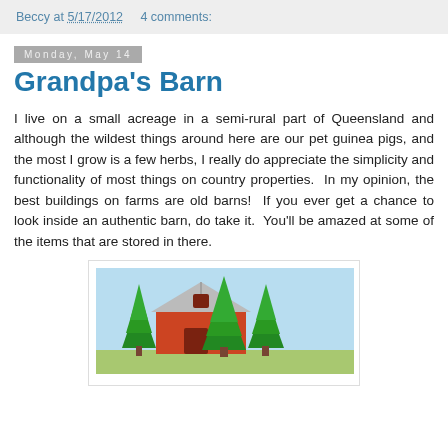Beccy at 5/17/2012    4 comments:
Monday, May 14
Grandpa's Barn
I live on a small acreage in a semi-rural part of Queensland and although the wildest things around here are our pet guinea pigs, and the most I grow is a few herbs, I really do appreciate the simplicity and functionality of most things on country properties.  In my opinion, the best buildings on farms are old barns!  If you ever get a chance to look inside an authentic barn, do take it.  You'll be amazed at some of the items that are stored in there.
[Figure (illustration): Cartoon illustration of a red barn with a grey roof surrounded by green pine trees against a light blue sky background.]